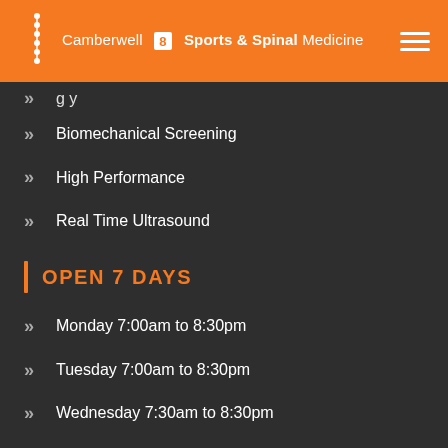Camberwell Sports & Spinal Medicine
Biomechanical Screening
High Performance
Real Time Ultrasound
OPEN 7 DAYS
Monday 7:00am to 8:30pm
Tuesday 7:00am to 8:30pm
Wednesday 7:30am to 8:30pm
Thursday 7:30am to 8:30pm
Friday 7:00am to 7:00...